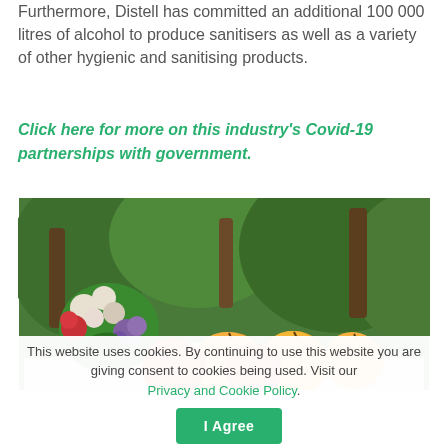Furthermore, Distell has committed an additional 100 000 litres of alcohol to produce sanitisers as well as a variety of other hygienic and sanitising products.
Click here for more on this industry's Covid-19 partnerships with government.
[Figure (photo): A outdoor table scene with fresh fruit (peaches, nectarines, apricots) and a vase of colorful flowers (roses, hydrangeas, white blooms) set against a lush green garden background with trees.]
This website uses cookies. By continuing to use this website you are giving consent to cookies being used. Visit our Privacy and Cookie Policy. I Agree